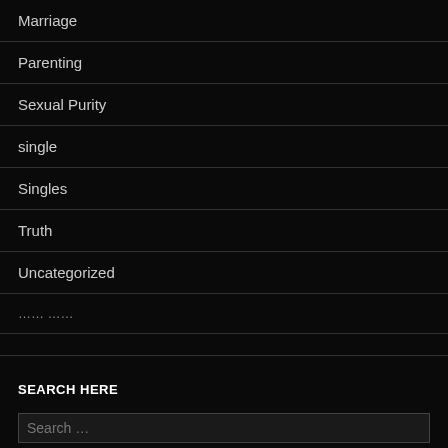Marriage
Parenting
Sexual Purity
single
Singles
Truth
Uncategorized
🀲🀳🀴🀵🀶 🀷🀸🀹
SEARCH HERE
Search …